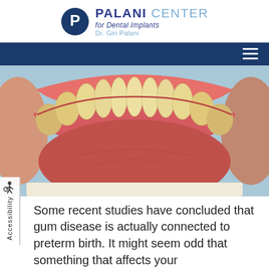PALANI CENTER for Dental Implants Dr. Giri Palani
[Figure (photo): Close-up occlusal view of lower teeth and gums showing dental anatomy]
Some recent studies have concluded that gum disease is actually connected to preterm birth. It might seem odd that something that affects your